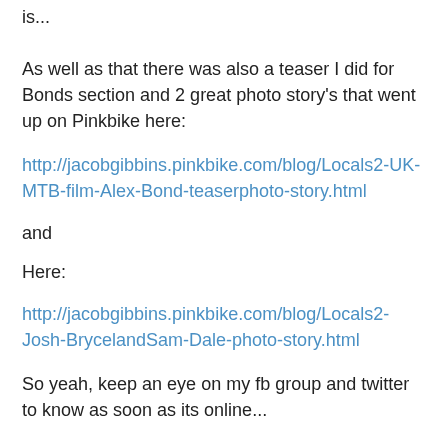is...
As well as that there was also a teaser I did for Bonds section and 2 great photo story's that went up on Pinkbike here:
http://jacobgibbins.pinkbike.com/blog/Locals2-UK-MTB-film-Alex-Bond-teaserphoto-story.html
and
Here:
http://jacobgibbins.pinkbike.com/blog/Locals2-Josh-BrycelandSam-Dale-photo-story.html
So yeah, keep an eye on my fb group and twitter to know as soon as its online...
https://www.facebook.com/JacobGibbinsPhotography
Tags